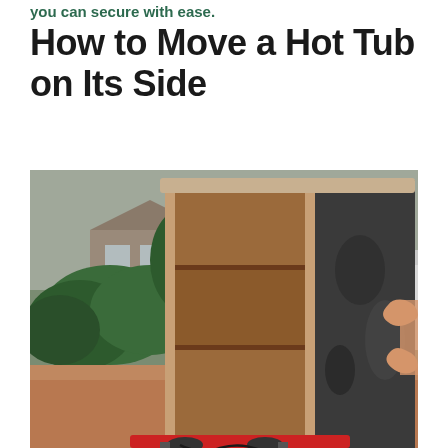you can secure with ease.
How to Move a Hot Tub on Its Side
[Figure (photo): A large hot tub standing on its side in a driveway, showing the wooden panel exterior on the left and the dark underside on the right. A person's arms and hands are visible on the right side pushing or steadying the tub. Green bushes and a house are visible in the background on the left, and a white trailer/RV is visible on the right. The hot tub appears to be on a red dolly or moving equipment at the base.]